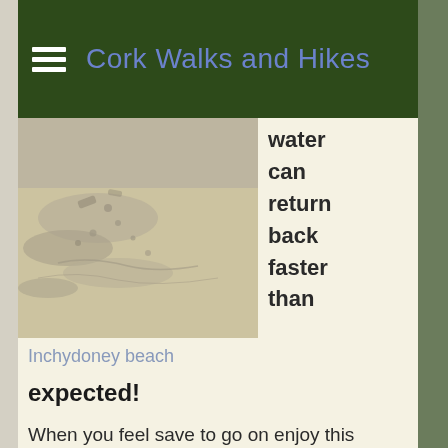Cork Walks and Hikes
[Figure (photo): Aerial or close-up view of a sandy beach with wet sand patterns and footprints, sepia/beige tones]
water can return back faster than
Inchydoney beach
expected!
When you feel save to go on enjoy this beautiful beach walk. After the next corner the beach changes a bit and can be a bit challenging . It's not everywhere simple sand. And it's not always a stable